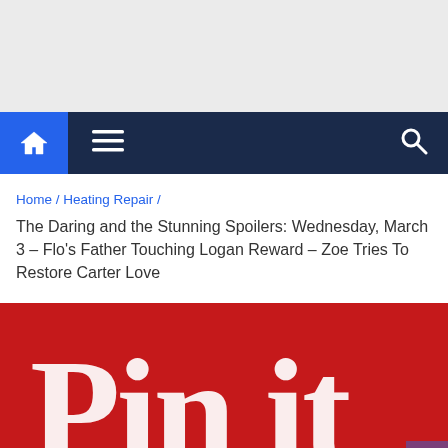Home / Heating Repair /
The Daring and the Stunning Spoilers: Wednesday, March 3 – Flo's Father Touching Logan Reward – Zoe Tries To Restore Carter Love
[Figure (photo): Pinterest 'Pin it' button image with red background and white text]